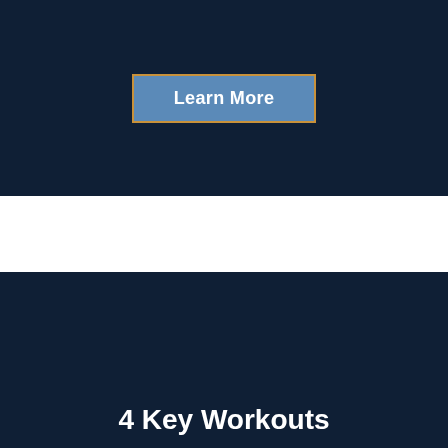[Figure (screenshot): Dark navy blue banner section with a 'Learn More' button styled with a blue background and golden/orange border outline]
Learn More
[Figure (screenshot): Dark navy blue banner section showing the beginning of a title '4 Key Workouts' in bold white text at the bottom]
4 Key Workouts